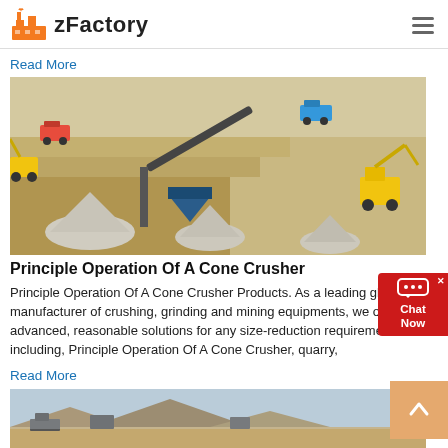zFactory
Read More
[Figure (illustration): 3D isometric illustration of a quarry/mining operation with cone crushers, conveyor belts, dump trucks, excavators, and crushed stone piles]
Principle Operation Of A Cone Crusher
Principle Operation Of A Cone Crusher Products. As a leading global manufacturer of crushing, grinding and mining equipments, we offer advanced, reasonable solutions for any size-reduction requirements including, Principle Operation Of A Cone Crusher, quarry,
Read More
[Figure (photo): Photograph of an outdoor quarry or mining site with heavy equipment and rocky terrain under a hazy sky]